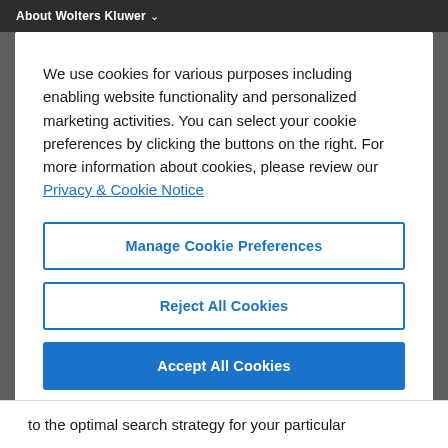About Wolters Kluwer
We use cookies for various purposes including enabling website functionality and personalized marketing activities. You can select your cookie preferences by clicking the buttons on the right. For more information about cookies, please review our Privacy & Cookie Notice
Manage Cookie Preferences
Reject All Cookies
Accept All Cookies
to the optimal search strategy for your particular